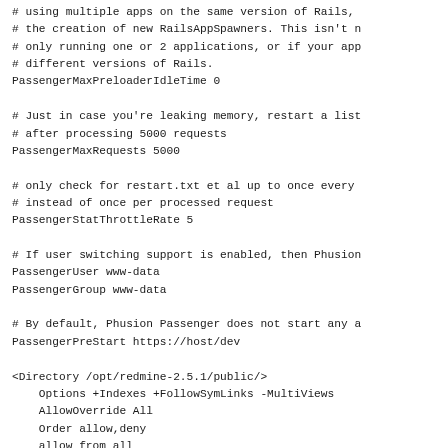# using multiple apps on the same version of Rails,
# the creation of new RailsAppSpawners. This isn't n
# only running one or 2 applications, or if your app
# different versions of Rails.
PassengerMaxPreloaderIdleTime 0

# Just in case you're leaking memory, restart a list
# after processing 5000 requests
PassengerMaxRequests 5000

# only check for restart.txt et al up to once every
# instead of once per processed request
PassengerStatThrottleRate 5

# If user switching support is enabled, then Phusion
PassengerUser www-data
PassengerGroup www-data

# By default, Phusion Passenger does not start any a
PassengerPreStart https://host/dev

<Directory /opt/redmine-2.5.1/public/>
    Options +Indexes +FollowSymLinks -MultiViews
    AllowOverride All
    Order allow,deny
    allow from all
</Directory>

 #/svn location for users
PerlLoadModule Apache2::Redmine

<Location /svn>